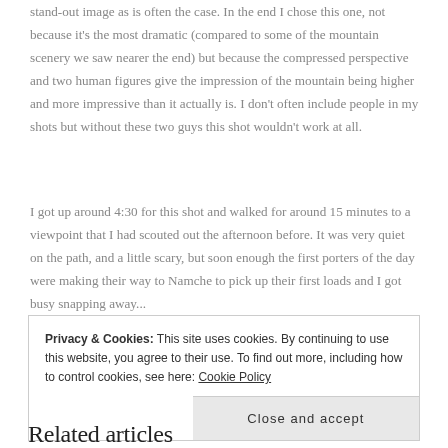stand-out image as is often the case. In the end I chose this one, not because it's the most dramatic (compared to some of the mountain scenery we saw nearer the end) but because the compressed perspective and two human figures give the impression of the mountain being higher and more impressive than it actually is. I don't often include people in my shots but without these two guys this shot wouldn't work at all.
I got up around 4:30 for this shot and walked for around 15 minutes to a viewpoint that I had scouted out the afternoon before. It was very quiet on the path, and a little scary, but soon enough the first porters of the day were making their way to Namche to pick up their first loads and I got busy snapping away...
Privacy & Cookies: This site uses cookies. By continuing to use this website, you agree to their use. To find out more, including how to control cookies, see here: Cookie Policy
Close and accept
Related articles